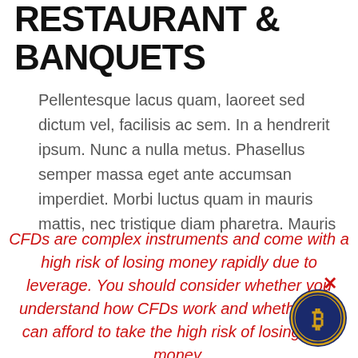RESTAURANT & BANQUETS
Pellentesque lacus quam, laoreet sed dictum vel, facilisis ac sem. In a hendrerit ipsum. Nunc a nulla metus. Phasellus semper massa eget ante accumsan imperdiet. Morbi luctus quam in mauris mattis, nec tristique diam pharetra. Mauris
CFDs are complex instruments and come with a high risk of losing money rapidly due to leverage. You should consider whether you understand how CFDs work and whether you can afford to take the high risk of losing your money.